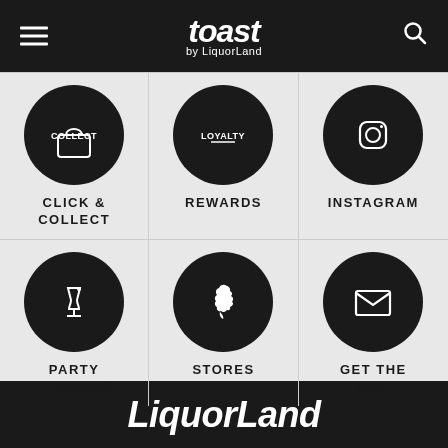toast by LiquorLand
[Figure (infographic): Navigation menu grid with 6 items: Click & Collect, Rewards, Instagram, Party Planning, Stores, Get the Mag — each with a black circle icon]
CLICK & COLLECT
REWARDS
INSTAGRAM
PARTY PLANNING
STORES
GET THE MAG
LiquorLand